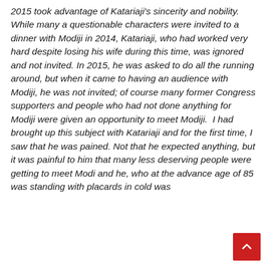2015 took advantage of Katariaji's sincerity and nobility.  While many a questionable characters were invited to a dinner with Modiji in 2014, Katariaji, who had worked very hard despite losing his wife during this time, was ignored and not invited. In 2015, he was asked to do all the running around, but when it came to having an audience with Modiji, he was not invited; of course many former Congress supporters and people who had not done anything for Modiji were given an opportunity to meet Modiji.  I had brought up this subject with Katariaji and for the first time, I saw that he was pained. Not that he expected anything, but it was painful to him that many less deserving people were getting to meet Modi and he, who at the advance age of 85 was standing with placards in cold was